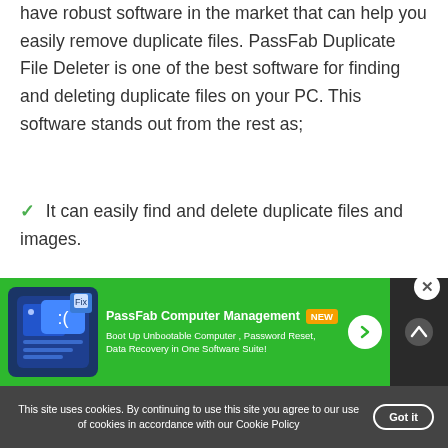have robust software in the market that can help you easily remove duplicate files. PassFab Duplicate File Deleter is one of the best software for finding and deleting duplicate files on your PC. This software stands out from the rest as;
It can easily find and delete duplicate files and images.
It works with 100% accuracy on all file’s formats, including audio and video.
The software can be supported on Windows 11/10/8.1/8/7 and MacOs 10.11-13.
[Figure (screenshot): PassFab Computer Management advertisement banner with green background, showing an icon, title with NEW badge, description text about Boot Up Unbootable Computer, Password Reset, Data Recovery in One Software Suite, an arrow button, and a close X button.]
This site uses cookies. By continuing to use this site you agree to our use of cookies in accordance with our Cookie Policy  Got it